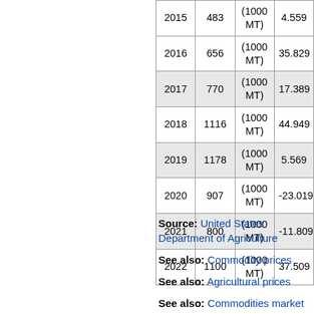| 2015 | 483 | (1000 MT) | 4.559 |
| 2016 | 656 | (1000 MT) | 35.829 |
| 2017 | 770 | (1000 MT) | 17.389 |
| 2018 | 1116 | (1000 MT) | 44.949 |
| 2019 | 1178 | (1000 MT) | 5.569 |
| 2020 | 907 | (1000 MT) | -23.019 |
| 2021 | 800 | (1000 MT) | -11.809 |
| 2022 | 1100 | (1000 MT) | 37.509 |
Source: United States Department of Agriculture
See also: Commodity prices
See also: Agricultural prices
See also: Commodities market